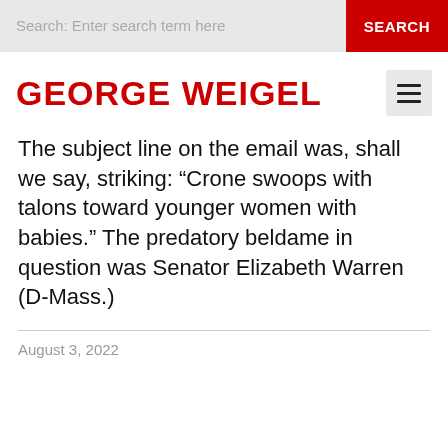Search: Enter search term here  SEARCH
GEORGE WEIGEL
The subject line on the email was, shall we say, striking: “Crone swoops with talons toward younger women with babies.” The predatory beldame in question was Senator Elizabeth Warren (D-Mass.)
August 3, 2022